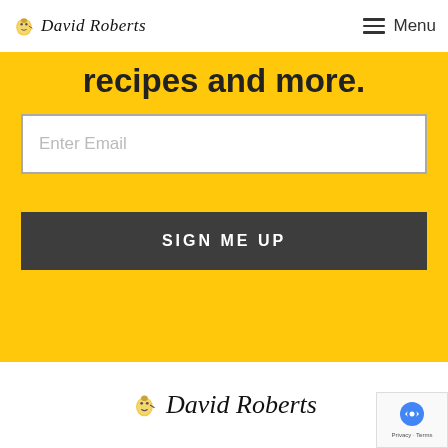David Roberts  Menu
recipes and more.
Enter Email
SIGN ME UP
[Figure (logo): David Roberts logo with potato mascot icon, large version in footer area]
[Figure (other): reCAPTCHA badge with Privacy and Terms links]